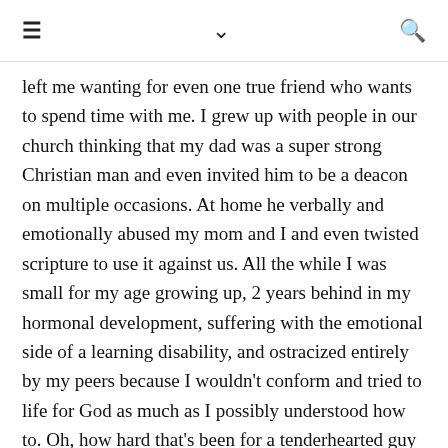≡  ∨  🔍
left me wanting for even one true friend who wants to spend time with me. I grew up with people in our church thinking that my dad was a super strong Christian man and even invited him to be a deacon on multiple occasions. At home he verbally and emotionally abused my mom and I and even twisted scripture to use it against us. All the while I was small for my age growing up, 2 years behind in my hormonal development, suffering with the emotional side of a learning disability, and ostracized entirely by my peers because I wouldn't conform and tried to life for God as much as I possibly understood how to. Oh, how hard that's been for a tenderhearted guy who craves affection, companionship, and